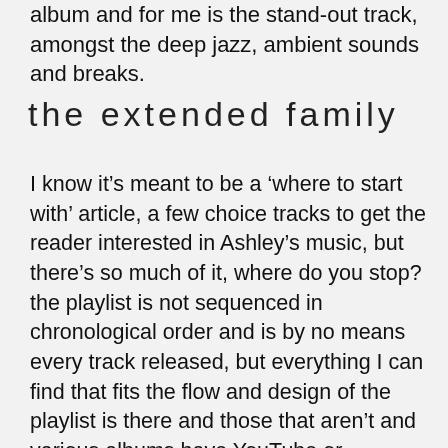album and for me is the stand-out track, amongst the deep jazz, ambient sounds and breaks.
the extended family
I know it’s meant to be a ‘where to start with’ article, a few choice tracks to get the reader interested in Ashley’s music, but there’s so much of it, where do you stop? the playlist is not sequenced in chronological order and is by no means every track released, but everything I can find that fits the flow and design of the playlist is there and those that aren’t and various albums have YouTube or Bandcamp links, but there’s probably still 100’s more songs and remixes I’ve not either mentioned or can’t locate to share.